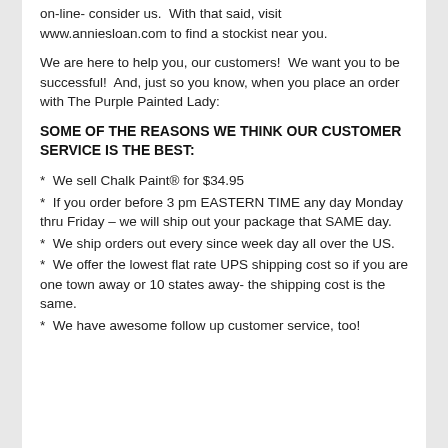on-line- consider us.  With that said, visit www.anniesloan.com to find a stockist near you.
We are here to help you, our customers!  We want you to be successful!  And, just so you know, when you place an order with The Purple Painted Lady:
SOME OF THE REASONS WE THINK OUR CUSTOMER SERVICE IS THE BEST:
*  We sell Chalk Paint® for $34.95
*  If you order before 3 pm EASTERN TIME any day Monday thru Friday – we will ship out your package that SAME day.
*  We ship orders out every since week day all over the US.
*  We offer the lowest flat rate UPS shipping cost so if you are one town away or 10 states away- the shipping cost is the same.
*  We have awesome follow up customer service, too!